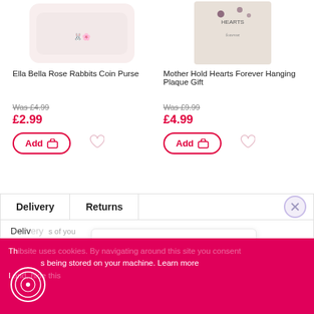[Figure (photo): Ella Bella Rose Rabbits Coin Purse product image, white with pink rabbit pattern]
[Figure (photo): Mother Hold Hearts Forever Hanging Plaque Gift product image, beige square plaque]
Ella Bella Rose Rabbits Coin Purse
Mother Hold Hearts Forever Hanging Plaque Gift
Was £4.99
£2.99
Was £9.99
£4.99
Add
Add
Delivery
Returns
FREE UK DELIVERY
On All Orders
Th  bsite uses cookies. By navigating around this site you consent  s being stored on your machine. Learn more
I   and, hide this